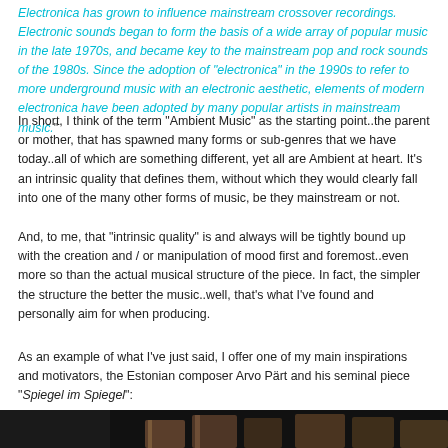Electronica has grown to influence mainstream crossover recordings. Electronic sounds began to form the basis of a wide array of popular music in the late 1970s, and became key to the mainstream pop and rock sounds of the 1980s. Since the adoption of "electronica" in the 1990s to refer to more underground music with an electronic aesthetic, elements of modern electronica have been adopted by many popular artists in mainstream music."
In short, I think of the term "Ambient Music" as the starting point..the parent or mother, that has spawned many forms or sub-genres that we have today..all of which are something different, yet all are Ambient at heart. It's an intrinsic quality that defines them, without which they would clearly fall into one of the many other forms of music, be they mainstream or not.
And, to me, that "intrinsic quality" is and always will be tightly bound up with the creation and / or manipulation of mood first and foremost..even more so than the actual musical structure of the piece. In fact, the simpler the structure the better the music..well, that's what I've found and personally aim for when producing.
As an example of what I've just said, I offer one of my main inspirations and motivators, the Estonian composer Arvo Pärt and his seminal piece "Spiegel im Spiegel":
[Figure (photo): Dark background image showing what appears to be vertical organ pipes or similar cylindrical musical instrument components in a dark, moody setting.]